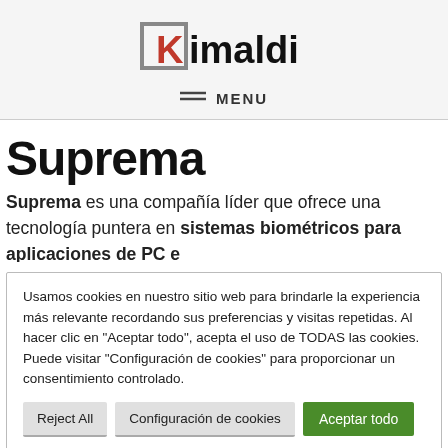[Figure (logo): Kimaldi logo with grey square bracket and red K, black text 'imaldi']
≡ MENU
Suprema
Suprema es una compañía líder que ofrece una tecnología puntera en sistemas biométricos para aplicaciones de PC e
Usamos cookies en nuestro sitio web para brindarle la experiencia más relevante recordando sus preferencias y visitas repetidas. Al hacer clic en "Aceptar todo", acepta el uso de TODAS las cookies. Puede visitar "Configuración de cookies" para proporcionar un consentimiento controlado.
Reject All
Configuración de cookies
Aceptar todo